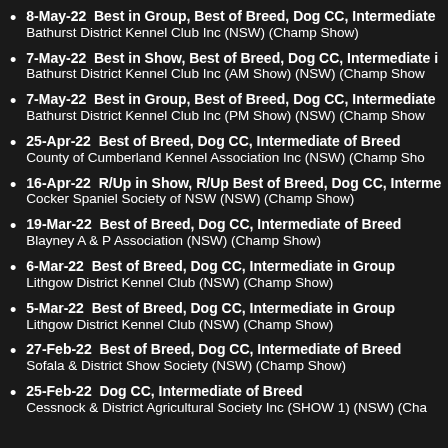8-May-22  Best in Group, Best of Breed, Dog CC, Intermediate
Bathurst District Kennel Club Inc (NSW) (Champ Show)
7-May-22  Best in Show, Best of Breed, Dog CC, Intermediate i
Bathurst District Kennel Club Inc (AM Show) (NSW) (Champ Show
7-May-22  Best in Group, Best of Breed, Dog CC, Intermediate 
Bathurst District Kennel Club Inc (PM Show) (NSW) (Champ Show
25-Apr-22  Best of Breed, Dog CC, Intermediate of Breed
County of Cumberland Kennel Association Inc (NSW) (Champ Sho
16-Apr-22  R/Up in Show, R/Up Best of Breed, Dog CC, Interme
Cocker Spaniel Society of NSW (NSW) (Champ Show)
19-Mar-22  Best of Breed, Dog CC, Intermediate of Breed
Blayney A & P Association (NSW) (Champ Show)
6-Mar-22  Best of Breed, Dog CC, Intermediate in Group
Lithgow District Kennel Club (NSW) (Champ Show)
5-Mar-22  Best of Breed, Dog CC, Intermediate in Group
Lithgow District Kennel Club (NSW) (Champ Show)
27-Feb-22  Best of Breed, Dog CC, Intermediate of Breed
Sofala & District Show Society (NSW) (Champ Show)
25-Feb-22  Dog CC, Intermediate of Breed
Cessnock & District Agricultural Society Inc (SHOW 1) (NSW) (Cha